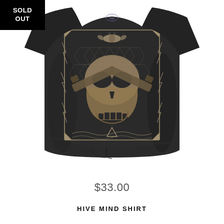[Figure (photo): A dark charcoal/black t-shirt with an intricate graphic print featuring a skull with moth wings, guns, honeycomb patterns, lightning bolts, and occult decorative borders. The shirt is displayed flat against a white background. There is a small brand logo at the collar. In the top-left corner there is a 'SOLD OUT' black badge overlay.]
$33.00
HIVE MIND SHIRT